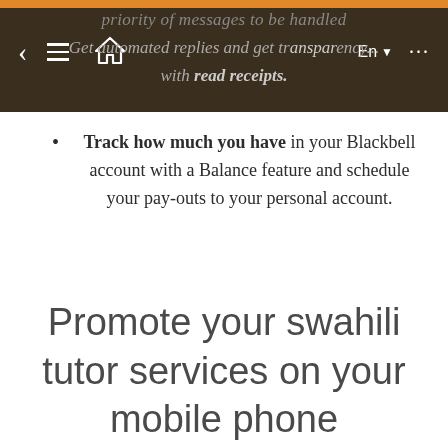priority of messages to be handled Get automated replies and get transparency... with read receipts.
Track how much you have in your Blackbell account with a Balance feature and schedule your pay-outs to your personal account.
Promote your swahili tutor services on your mobile phone